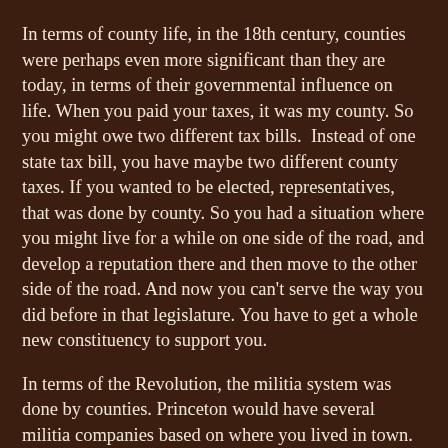In terms of county life, in the 18th century, counties were perhaps even more significant than they are today, in terms of their governmental influence on life. When you paid your taxes, it was my county. So you might owe two different tax bills.  Instead of one state tax bill, you have maybe two different county taxes. If you wanted to be elected, representatives, that was done by county. So you had a situation where you might live for a while on one side of the road, and develop a reputation there and then move to the other side of the road. And now you can't serve the way you did before in that legislature. You have to get a whole new constituency to support you.
In terms of the Revolution, the militia system was done by counties. Princeton would have several militia companies based on where you lived in town. If you liked the captain of the company from the other side of the street, you couldn't necessarily join that company. You were stuck with where you work, unless you got special dispensation from the government. So there was just a lot of ramifications to that county split that way. Fortunately, it isn't that way anymore. There was a county reorganization.